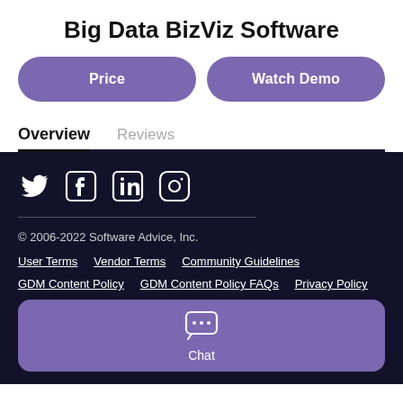Big Data BizViz Software
Price
Watch Demo
Overview
Reviews
[Figure (other): Social media icons: Twitter, Facebook, LinkedIn, Instagram]
© 2006-2022 Software Advice, Inc.
User Terms   Vendor Terms   Community Guidelines
GDM Content Policy   GDM Content Policy FAQs   Privacy Policy
Chat